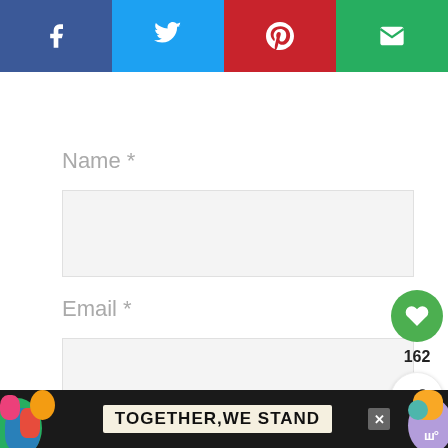[Figure (infographic): Social sharing bar with four colored buttons: Facebook (dark blue), Twitter (light blue), Pinterest (red), Email (green), each with a white icon]
Name *
[Figure (screenshot): Light grey input field for Name]
Email *
[Figure (screenshot): Light grey input field for Email]
Website
[Figure (screenshot): Light grey input field for Website (partially visible)]
[Figure (infographic): Green heart button with 162 count and a share button below]
[Figure (infographic): WHAT'S NEXT panel showing Quick Coconut... with thumbnail]
[Figure (infographic): Bottom ad bar: colorful shapes on left, TOGETHER,WE STAND text, close X button, and Whisk logo on right]